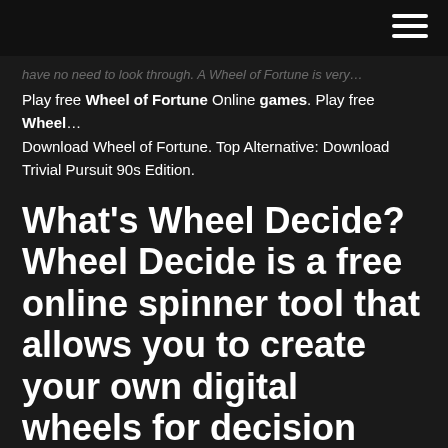≡
have no need to look through. A Wheel of Fortune is very…
Play free Wheel of Fortune Online games. Play free Wheel… Download Wheel of Fortune. Top Alternative: Download Trivial Pursuit 90s Edition.
What's Wheel Decide? Wheel Decide is a free online spinner tool that allows you to create your own digital wheels for decision making, prize giveaways, raffles, games, and more. Browse through our wheels and spin to randomize your life and make the